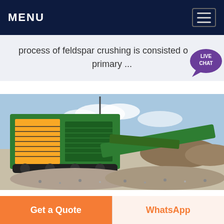MENU
process of feldspar crushing is consisted o... primary ...
[Figure (photo): A green mobile crushing/screening machine operating on a gravel/aggregate site with piles of crushed stone and earthworks in the background under a partly cloudy sky.]
Get a Quote
WhatsApp